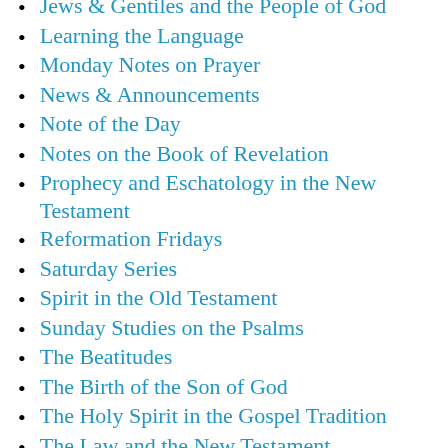Jews & Gentiles and the People of God
Learning the Language
Monday Notes on Prayer
News & Announcements
Note of the Day
Notes on the Book of Revelation
Prophecy and Eschatology in the New Testament
Reformation Fridays
Saturday Series
Spirit in the Old Testament
Sunday Studies on the Psalms
The Beatitudes
The Birth of the Son of God
The Holy Spirit in the Gospel Tradition
The Law and the New Testament
The Lord's Prayer